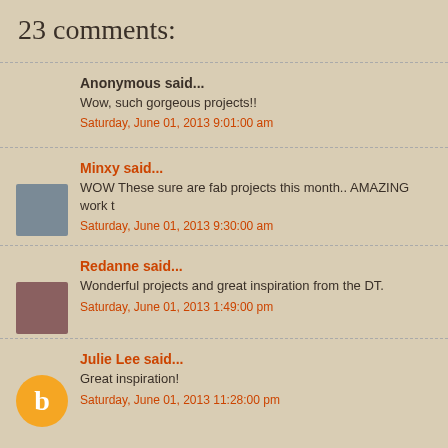23 comments:
Anonymous said...
Wow, such gorgeous projects!!
Saturday, June 01, 2013 9:01:00 am
Minxy said...
WOW These sure are fab projects this month.. AMAZING work t
Saturday, June 01, 2013 9:30:00 am
Redanne said...
Wonderful projects and great inspiration from the DT.
Saturday, June 01, 2013 1:49:00 pm
Julie Lee said...
Great inspiration!
Saturday, June 01, 2013 11:28:00 pm